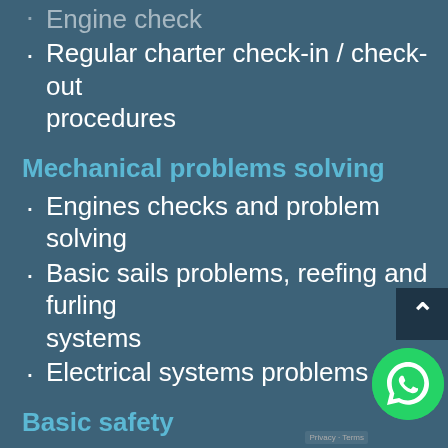Engine check
Regular charter check-in / check- out procedures
Mechanical problems solving
Engines checks and problem solving
Basic sails problems, reefing and furling systems
Electrical systems problems
Basic safety
Safety equipment and parts
Safety checks
Safety guest briefing
Man overboard drills under power and sails
Distress situations